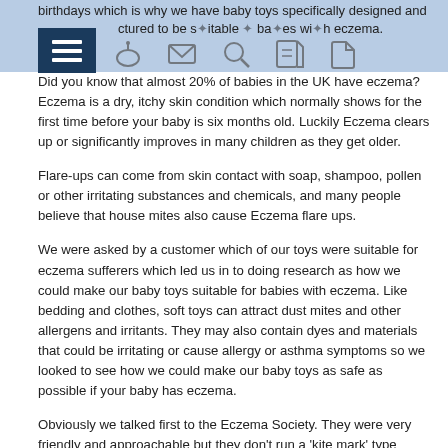birthdays which is why we have baby toys specifically designed and manufactured to be suitable for babies with eczema.
Did you know that almost 20% of babies in the UK have eczema? Eczema is a dry, itchy skin condition which normally shows for the first time before your baby is six months old. Luckily Eczema clears up or significantly improves in many children as they get older.
Flare-ups can come from skin contact with soap, shampoo, pollen or other irritating substances and chemicals, and many people believe that house mites also cause Eczema flare ups.
We were asked by a customer which of our toys were suitable for eczema sufferers which led us in to doing research as how we could make our baby toys suitable for babies with eczema. Like bedding and clothes, soft toys can attract dust mites and other allergens and irritants. They may also contain dyes and materials that could be irritating or cause allergy or asthma symptoms so we looked to see how we could make our baby toys as safe as possible if your baby has eczema.
Obviously we talked first to the Eczema Society. They were very friendly and approachable but they don't run a 'kite mark' type accreditation scheme. Their advice for toys is similar to their advice for clothing. If possible use pure cotton and to avoid toys with rough